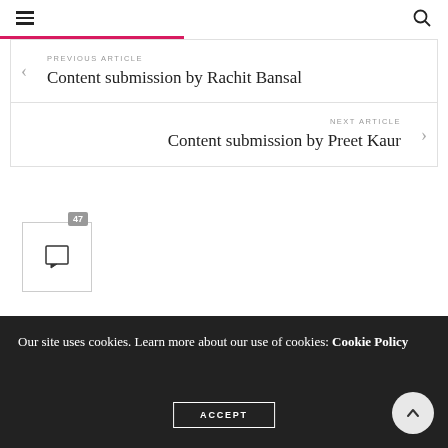≡  🔍
PREVIOUS ARTICLE
Content submission by Rachit Bansal
NEXT ARTICLE
Content submission by Preet Kaur
[Figure (other): Comment icon badge showing 47 comments]
47 COMMENTS
Our site uses cookies. Learn more about our use of cookies: Cookie Policy